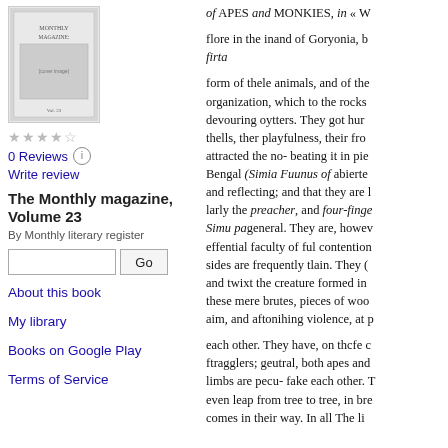[Figure (illustration): Thumbnail image of the book cover for The Monthly magazine, Volume 23]
0 Reviews
Write review
The Monthly magazine, Volume 23
By Monthly literary register
Go (search box)
About this book
My library
Books on Google Play
Terms of Service
of APES and MONKIES, in « W flore in the inand of Goryonia, b firta form of thele animals, and of the organization, which to the rocks devouring oytters. They got hur thells, ther playfulness, their fro attracted the no- beating it in pie Bengal (Simia Fuunus of abierte and reflecting; and that they are larly the preacher, and four-finge Simu pageneral. They are, howe effential faculty of ful contention sides are frequently tlain. They ( and twixt the creature formed in these mere brutes, pieces of woo aim, and aftonihing violence, at p each other. They have, on thcfe c ftragglers; geutral, both apes and limbs are pecu- fake each other. even leap from tree to tree, in bre comes in their way. In all The li